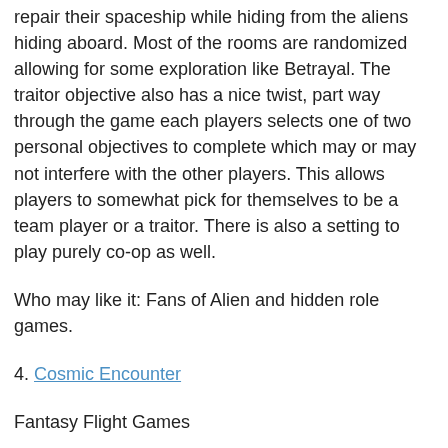repair their spaceship while hiding from the aliens hiding aboard. Most of the rooms are randomized allowing for some exploration like Betrayal. The traitor objective also has a nice twist, part way through the game each players selects one of two personal objectives to complete which may or may not interfere with the other players. This allows players to somewhat pick for themselves to be a team player or a traitor. There is also a setting to play purely co-op as well.
Who may like it: Fans of Alien and hidden role games.
4. Cosmic Encounter
Fantasy Flight Games
Designer: Bill Eberle, Jack Kittredge, Bill Norton, Peter Olotka, Kevin Wilson